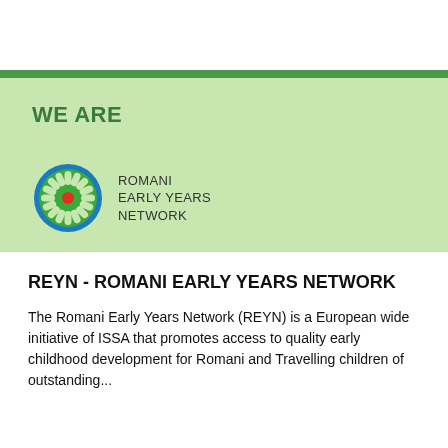WE ARE
[Figure (logo): Romani Early Years Network logo — circular daisy wheel emblem in blue and green with a red center dot, with text ROMANI EARLY YEARS NETWORK to the right]
REYN - ROMANI EARLY YEARS NETWORK
The Romani Early Years Network (REYN) is a European wide initiative of ISSA that promotes access to quality early childhood development for Romani and Travelling children of outstanding...